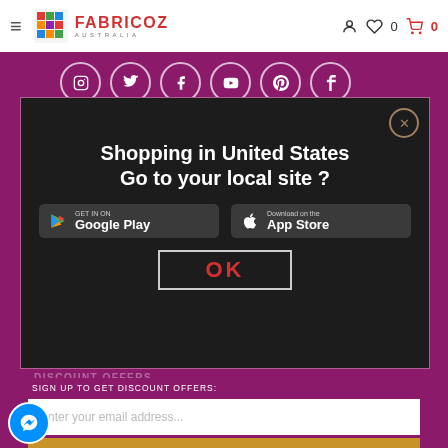[Figure (screenshot): Fabricoz Australia website header with hamburger menu, logo, and cart/wishlist icons]
[Figure (screenshot): Social media icons row: Instagram, Twitter, Facebook, YouTube, Pinterest, Tumblr, LinkedIn, Telegram on purple background]
[Figure (screenshot): Modal popup dialog: 'Shopping in United States Go to your local site?' with Google Play and App Store buttons and OK button]
DOWNLOAD OUR APP
SIGN UP TO GET DISCOUNT OFFERS:
DISCOUNT OFFERS
Enter your email address...
SIGN UP